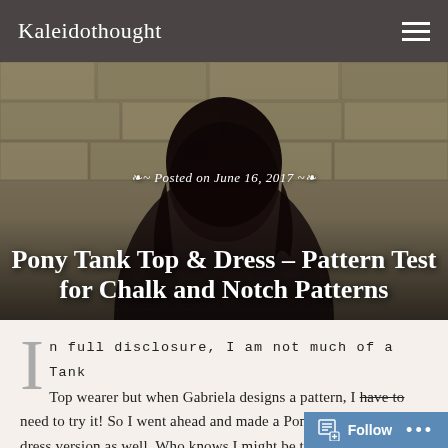Kaleidothought
[Figure (photo): Hero image of a person with dark hair against a stone wall background, with overlaid post date and title text]
Posted on June 16, 2017
Pony Tank Top & Dress – Pattern Test for Chalk and Notch Patterns
In full disclosure, I am not much of a Tank Top wearer but when Gabriela designs a pattern, I have to need to try it! So I went ahead and made a Pony Tank and then a dress version as well. Who knows I might be turning into a tank